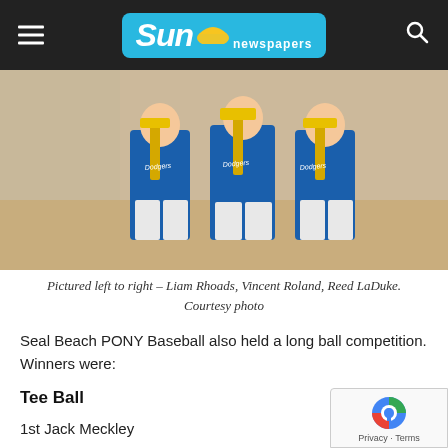Sun newspapers
[Figure (photo): Three children in blue Dodgers baseball uniforms holding trophies, standing outdoors.]
Pictured left to right – Liam Rhoads, Vincent Roland, Reed LaDuke. Courtesy photo
Seal Beach PONY Baseball also held a long ball competition. Winners were:
Tee Ball
1st Jack Meckley
2nd Lincoln Sandler